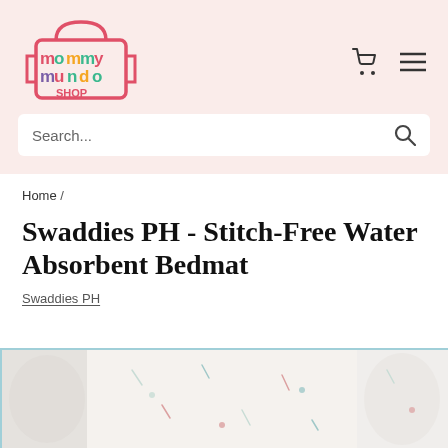[Figure (logo): Mommy Mundo Shop colorful logo with shopping bag icon]
Search...
Home /
Swaddies PH - Stitch-Free Water Absorbent Bedmat
Swaddies PH
[Figure (photo): Product image of Swaddies PH Stitch-Free Water Absorbent Bedmat showing fabric with small colorful prints]